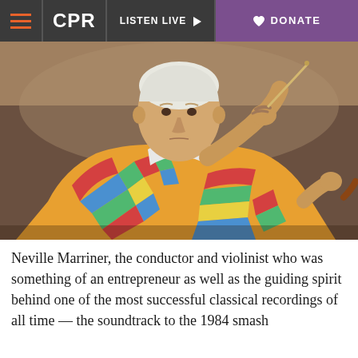CPR | LISTEN LIVE | DONATE
[Figure (photo): An elderly conductor with white hair wearing a colorful striped shirt, raising a baton with his right hand while conducting an orchestra.]
Neville Marriner, the conductor and violinist who was something of an entrepreneur as well as the guiding spirit behind one of the most successful classical recordings of all time — the soundtrack to the 1984 smash